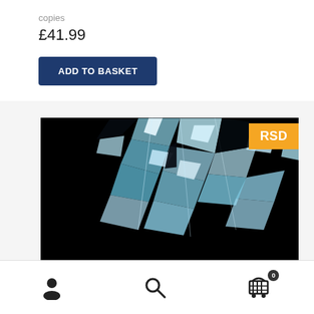copies
£41.99
ADD TO BASKET
[Figure (photo): Def Leppard album cover showing shattered glass on black background with the Def Leppard logo in orange/red flame-like lettering. A yellow 'RSD' badge appears in the top right corner.]
Navigation bar with user icon, search icon, and cart icon with badge showing 0